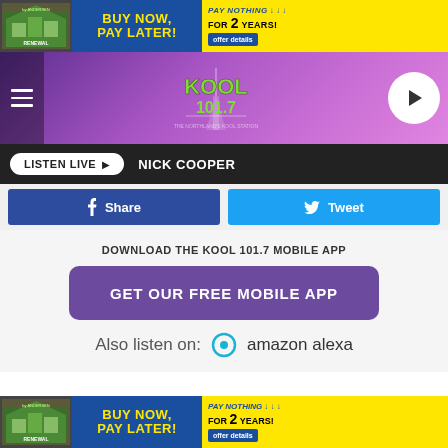[Figure (infographic): Renewal by Andersen advertisement banner: Buy Now, Pay Later! Pay Nothing For 2 Years! with offer details button]
[Figure (logo): Kool 101.7 radio station website header with purple gradient background, hamburger menu, Kool 101.7 logo, and play button]
LISTEN LIVE ▶   NICK COOPER
[Figure (infographic): Facebook Share button and Twitter Tweet button row]
DOWNLOAD THE KOOL 101.7 MOBILE APP
GET OUR FREE MOBILE APP
Also listen on:  amazon alexa
[Figure (infographic): Renewal by Andersen advertisement banner at bottom: Buy Now, Pay Later! Pay Nothing For 2 Years! with offer details button]